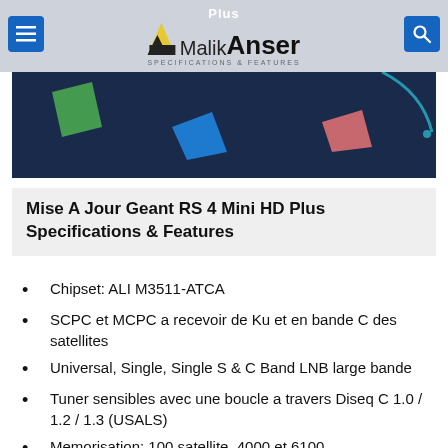Plus MalikAnser Specifications & Features
[Figure (illustration): Dark navy banner image with colorful geometric shapes (green, blue, pink) on dark background]
Mise A Jour Geant RS 4 Mini HD Plus Specifications & Features
Chipset: ALI M3511-ATCA
SCPC et MCPC a recevoir de Ku et en bande C des satellites
Universal, Single, Single S & C Band LNB large bande
Tuner sensibles avec une boucle a travers Diseq C 1.0 / 1.2 / 1.3 (USALS)
Memorisation: 100 satellite, 4000 et 6100